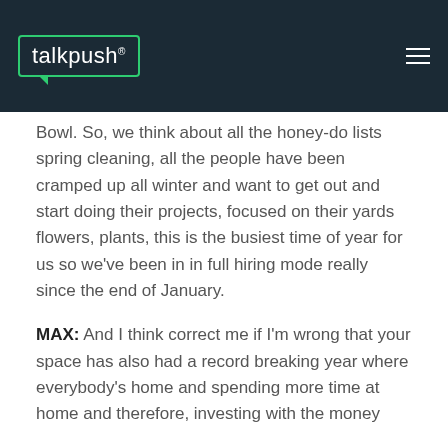talkpush
Bowl. So, we think about all the honey-do lists spring cleaning, all the people have been cramped up all winter and want to get out and start doing their projects, focused on their yards flowers, plants, this is the busiest time of year for us so we've been in in full hiring mode really since the end of January.
MAX: And I think correct me if I'm wrong that your space has also had a record breaking year where everybody's home and spending more time at home and therefore, investing with the money